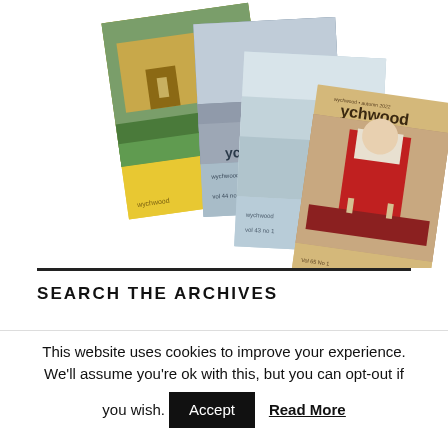[Figure (illustration): Stack of four Wychwood magazine covers fanned out diagonally. The covers include one with a yellow background showing a countryside house, one with a blue-grey background showing a winter landscape, one with a light blue background showing a snowy scene, and one with a tan/beige background showing a priest in red vestments at an altar.]
SEARCH THE ARCHIVES
This website uses cookies to improve your experience. We'll assume you're ok with this, but you can opt-out if you wish.
Accept
Read More